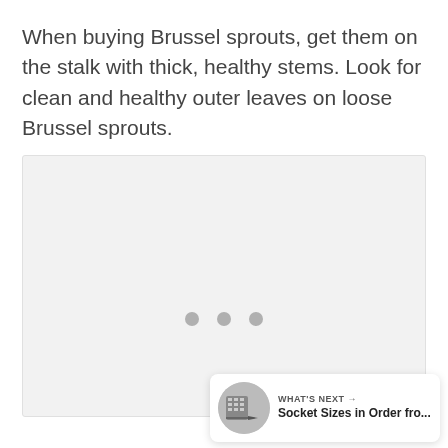When buying Brussel sprouts, get them on the stalk with thick, healthy stems. Look for clean and healthy outer leaves on loose Brussel sprouts.
[Figure (photo): Image placeholder area with loading dots, showing a light gray background with three gray dots in the center indicating an image is loading. A green heart/like button, a count of 1, and a share button are overlaid on the right side.]
WHAT'S NEXT → Socket Sizes in Order fro...